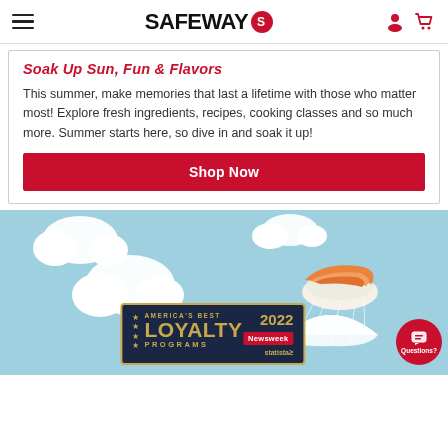SAFEWAY
Soak Up Sun, Fun & Flavors
This summer, make memories that last a lifetime with those who matter most! Explore fresh ingredients, recipes, cooking classes and so much more. Summer starts here, so dive in and soak it up!
Shop Now
[Figure (illustration): Blue sky background with fluffy white clouds and a sushi piece attached to a parachute descending from the sky. In the foreground is a dark navy badge reading America's Best Loyalty Programs 2022 with Newsweek and Statista branding.]
AMERICA'S BEST LOYALTY PROGRAMS 2022 — Newsweek / statista